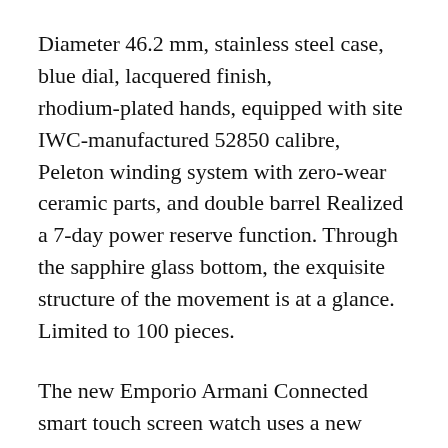Diameter 46.2 mm, stainless steel case, blue dial, lacquered finish, rhodium-plated hands, equipped with site IWC-manufactured 52850 calibre, Peleton winding system with zero-wear ceramic parts, and double barrel Realized a 7-day power reserve function. Through the sapphire glass bottom, the exquisite structure of the movement is at a glance. Limited to 100 pieces.
The new Emporio Armani Connected smart touch screen watch uses a new digital dial design, a striking stainless steel case and a dazzling 1.19-inch AMOLED display, equipped with environmental sensors to help increase battery life.